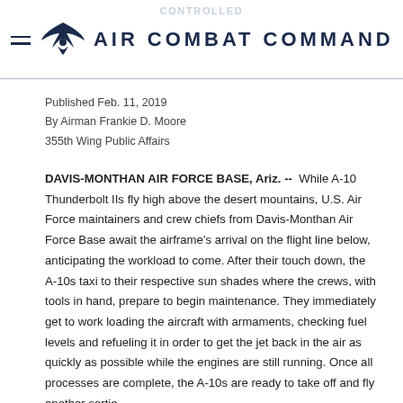AIR COMBAT COMMAND
Published Feb. 11, 2019
By Airman Frankie D. Moore
355th Wing Public Affairs
DAVIS-MONTHAN AIR FORCE BASE, Ariz. -- While A-10 Thunderbolt IIs fly high above the desert mountains, U.S. Air Force maintainers and crew chiefs from Davis-Monthan Air Force Base await the airframe's arrival on the flight line below, anticipating the workload to come. After their touch down, the A-10s taxi to their respective sun shades where the crews, with tools in hand, prepare to begin maintenance. They immediately get to work loading the aircraft with armaments, checking fuel levels and refueling it in order to get the jet back in the air as quickly as possible while the engines are still running. Once all processes are complete, the A-10s are ready to take off and fly another sortie.